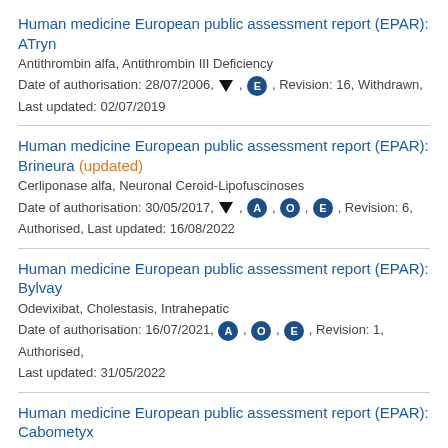Human medicine European public assessment report (EPAR): ATryn
Antithrombin alfa, Antithrombin III Deficiency
Date of authorisation: 28/07/2006, ▼, E, Revision: 16, Withdrawn, Last updated: 02/07/2019
Human medicine European public assessment report (EPAR): Brineura (updated)
Cerliponase alfa, Neuronal Ceroid-Lipofuscinoses
Date of authorisation: 30/05/2017, ▼, A, O, E, Revision: 6, Authorised, Last updated: 16/08/2022
Human medicine European public assessment report (EPAR): Bylvay
Odevixibat, Cholestasis, Intrahepatic
Date of authorisation: 16/07/2021, A, O, E, Revision: 1, Authorised, Last updated: 31/05/2022
Human medicine European public assessment report (EPAR): Cabometyx